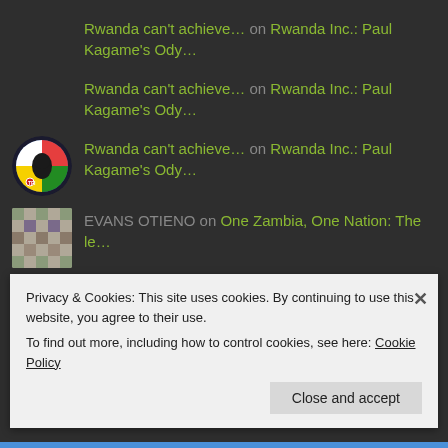Rwanda can't achieve… on Rwanda Inc.: Paul Kagame's Ody…
Rwanda can't achieve… on Rwanda Inc.: Paul Kagame's Ody…
Rwanda can't achieve… on Rwanda Inc.: Paul Kagame's Ody…
EVANS OTIENO on One Zambia, One Nation: The le…
Phillemon Josua on One Zambia, One Nation: The le…
Privacy & Cookies: This site uses cookies. By continuing to use this website, you agree to their use.
To find out more, including how to control cookies, see here: Cookie Policy
Close and accept